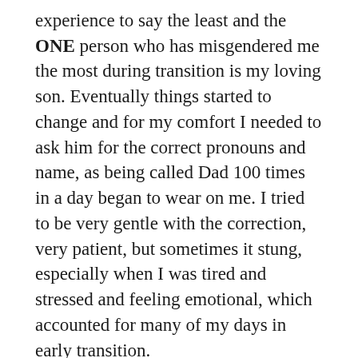experience to say the least and the ONE person who has misgendered me the most during transition is my loving son. Eventually things started to change and for my comfort I needed to ask him for the correct pronouns and name, as being called Dad 100 times in a day began to wear on me. I tried to be very gentle with the correction, very patient, but sometimes it stung, especially when I was tired and stressed and feeling emotional, which accounted for many of my days in early transition.
I didn't take it personally, it was never an intentional slight from him, just easy to forget. 8 and 9 year old brains are powerful things, but they also can forget where they are going on